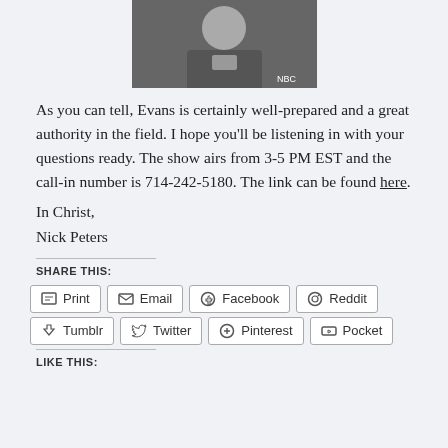[Figure (photo): Photo of a man in a dark suit and tie, smiling, with an NBC microphone visible]
As you can tell, Evans is certainly well-prepared and a great authority in the field. I hope you'll be listening in with your questions ready. The show airs from 3-5 PM EST and the call-in number is 714-242-5180. The link can be found here.
In Christ,
Nick Peters
SHARE THIS:
Print | Email | Facebook | Reddit | Tumblr | Twitter | Pinterest | Pocket
LIKE THIS: